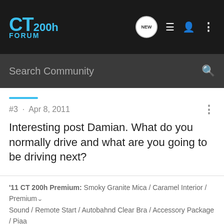CT 200h FORUM
Search Community
#3 · Apr 8, 2011
Interesting post Damian. What do you normally drive and what are you going to be driving next?
'11 CT 200h Premium: Smoky Granite Mica / Caramel Interior / Premium Sound / Remote Start / Autobahnd Clear Bra / Accessory Package / Piaa
DamianVargas · Registered
Joined Mar 19, 2011 · 25 Posts